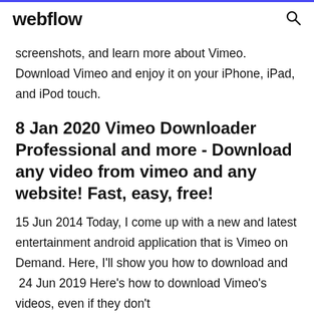webflow
screenshots, and learn more about Vimeo. Download Vimeo and enjoy it on your iPhone, iPad, and iPod touch.
8 Jan 2020 Vimeo Downloader Professional and more - Download any video from vimeo and any website! Fast, easy, free!
15 Jun 2014 Today, I come up with a new and latest entertainment android application that is Vimeo on Demand. Here, I'll show you how to download and  24 Jun 2019 Here's how to download Vimeo's videos, even if they don't